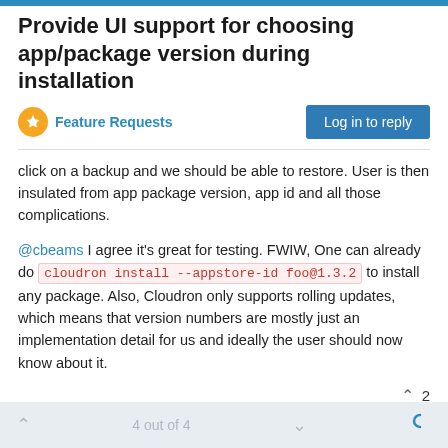Provide UI support for choosing app/package version during installation
Feature Requests
click on a backup and we should be able to restore. User is then insulated from app package version, app id and all those complications.
@cbeams I agree it's great for testing. FWIW, One can already do cloudron install --appstore-id foo@1.3.2 to install any package. Also, Cloudron only supports rolling updates, which means that version numbers are mostly just an implementation detail for us and ideally the user should now know about it.
Powered by NodeBB
4 out of 4